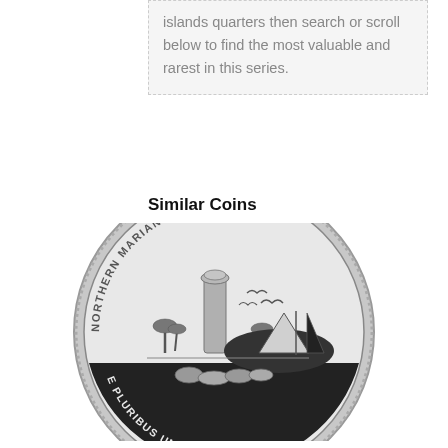islands quarters then search or scroll below to find the most valuable and rarest in this series.
Similar Coins
[Figure (photo): A Northern Mariana Islands quarter coin (2009) showing the reverse side with 'NORTHERN MARIANA ISLANDS' text around the top, a latte stone pillar, flying birds, palm trees, a traditional proa sailboat, tropical flowers, and 'E PLURIBUS UNUM 2009' along the bottom.]